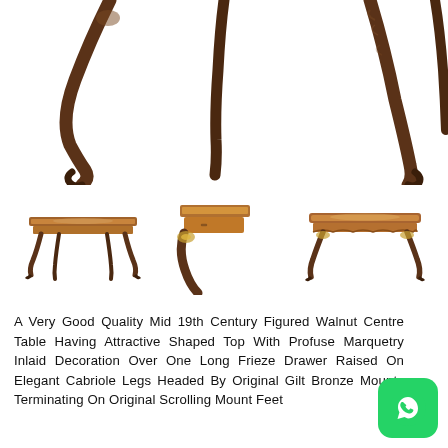[Figure (photo): Close-up photo of curved cabriole legs of an antique walnut centre table, showing ornate carved detail at the knee, on white background]
[Figure (photo): Small thumbnail: side view of the full antique walnut centre table with cabriole legs]
[Figure (photo): Small thumbnail: close-up of the corner leg and frieze drawer of the antique walnut centre table]
[Figure (photo): Small thumbnail: front view of the antique walnut centre table]
A Very Good Quality Mid 19th Century Figured Walnut Centre Table Having Attractive Shaped Top With Profuse Marquetry Inlaid Decoration Over One Long Frieze Drawer Raised On Elegant Cabriole Legs Headed By Original Gilt Bronze Mounts Terminating On Original Scrolling Mount Feet